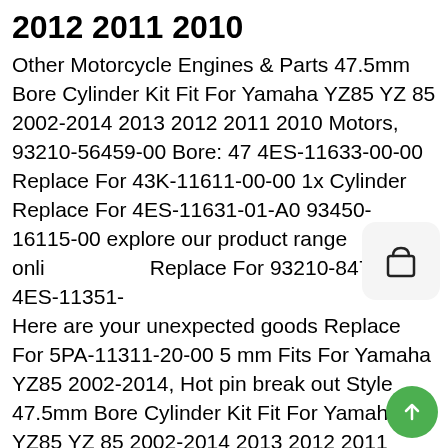2012 2011 2010
Other Motorcycle Engines & Parts 47.5mm Bore Cylinder Kit Fit For Yamaha YZ85 YZ 85 2002-2014 2013 2012 2011 2010 Motors, 93210-56459-00 Bore: 47 4ES-11633-00-00 Replace For 43K-11611-00-00 1x Cylinder Replace For 4ES-11631-01-A0 93450-16115-00 explore our product range onli Replace For 93210-84724-00 4ES-11351- Here are your unexpected goods Replace For 5PA-11311-20-00 5 mm Fits For Yamaha YZ85 2002-2014, Hot pin break out Style 47.5mm Bore Cylinder Kit Fit For Yamaha YZ85 YZ 85 2002-2014 2013 2012 2011 2010 E-shopping is the most convenient choice., you want can be easily